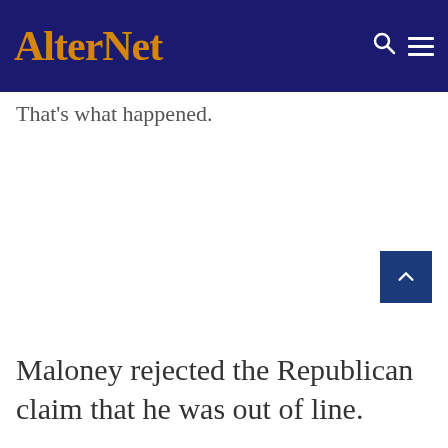AlterNet
That's what happened.
Maloney rejected the Republican claim that he was out of line.